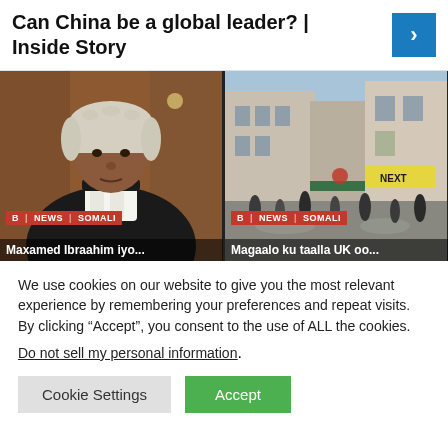Can China be a global leader? | Inside Story
[Figure (photo): Left: A man in a black judge/barrister robe and white wig sitting at a desk. Right: A busy UK shopping street with pedestrians and storefronts.]
Maxamed Ibraahim iyo...
Magaalo ku taalla UK oo...
We use cookies on our website to give you the most relevant experience by remembering your preferences and repeat visits. By clicking “Accept”, you consent to the use of ALL the cookies.
Do not sell my personal information.
Cookie Settings  Accept